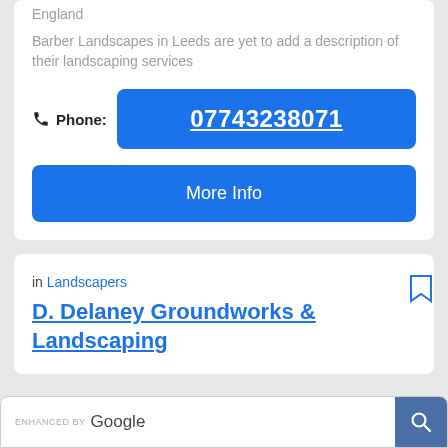England
Barber Landscapes in Leeds are yet to add a description of their landscaping services
Phone: 07743238071
More Info
in Landscapers
D. Delaney Groundworks & Landscaping